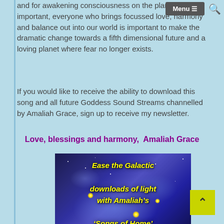and for awakening consciousness on the planet. You are important, everyone who brings focussed love, harmony and balance out into our world is important to make the dramatic change towards a fifth dimensional future and a loving planet where fear no longer exists.
If you would like to receive the ability to download this song and all future Goddess Sound Streams channelled by Amaliah Grace, sign up to receive my newsletter.
Love, blessings and harmony,  Amaliah Grace
[Figure (illustration): Space/galaxy image showing a planet or Earth-like sphere with stars and galactic light, with yellow italic text overlay reading: Ease the Galactic downloads of light with Amaliah’s ‘Songs of Home’]